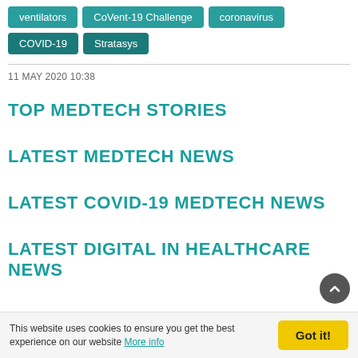ventilators
CoVent-19 Challenge
coronavirus
COVID-19
Stratasys
11 MAY 2020 10:38
TOP MEDTECH STORIES
LATEST MEDTECH NEWS
LATEST COVID-19 MEDTECH NEWS
LATEST DIGITAL IN HEALTHCARE NEWS
This website uses cookies to ensure you get the best experience on our website More info
Got it!